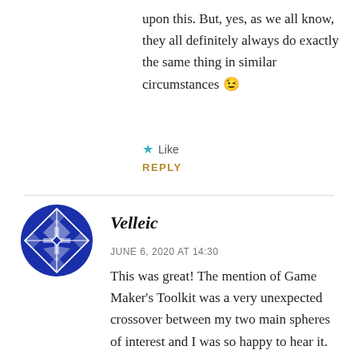upon this. But, yes, as we all know, they all definitely always do exactly the same thing in similar circumstances 😉
★ Like
REPLY
[Figure (illustration): Blue geometric quilt-pattern avatar icon for user Velleic]
Velleic
JUNE 6, 2020 AT 14:30
This was great! The mention of Game Maker's Toolkit was a very unexpected crossover between my two main spheres of interest and I was so happy to hear it. Plenty to think